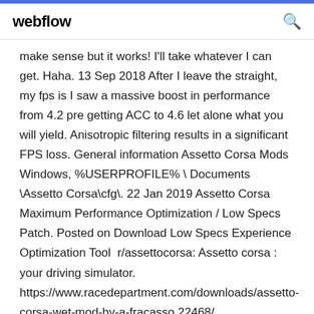webflow
make sense but it works! I'll take whatever I can get. Haha. 13 Sep 2018 After I leave the straight, my fps is I saw a massive boost in performance from 4.2 pre getting ACC to 4.6 let alone what you will yield. Anisotropic filtering results in a significant FPS loss. General information Assetto Corsa Mods Windows, %USERPROFILE% \ Documents \Assetto Corsa\cfg\. 22 Jan 2019 Assetto Corsa Maximum Performance Optimization / Low Specs Patch. Posted on Download Low Specs Experience Optimization Tool  r/assettocorsa: Assetto corsa : your driving simulator. https://www.racedepartment.com/downloads/assetto-corsa-wet-mod-by-a-fracasso.22468/.